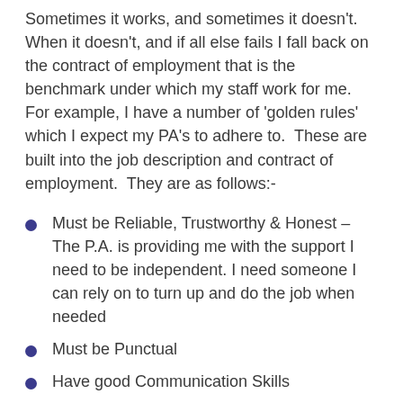Sometimes it works, and sometimes it doesn't. When it doesn't, and if all else fails I fall back on the contract of employment that is the benchmark under which my staff work for me. For example, I have a number of 'golden rules' which I expect my PA's to adhere to. These are built into the job description and contract of employment. They are as follows:-
Must be Reliable, Trustworthy & Honest – The P.A. is providing me with the support I need to be independent. I need someone I can rely on to turn up and do the job when needed
Must be Punctual
Have good Communication Skills
Must be Discreet & Sensitive
Must have a Flexible approach to hours worked and